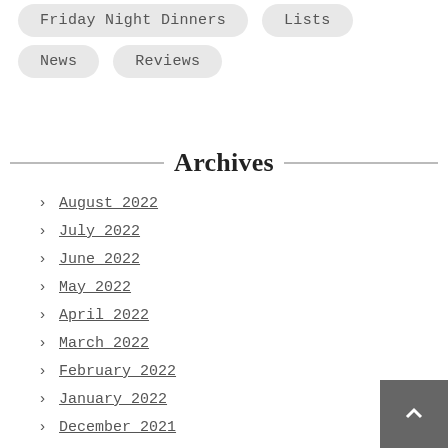Friday Night Dinners
Lists
News
Reviews
Archives
August 2022
July 2022
June 2022
May 2022
April 2022
March 2022
February 2022
January 2022
December 2021